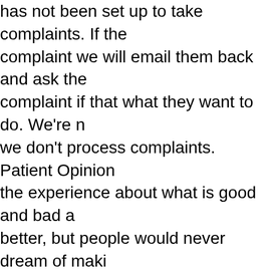has not been set up to take complaints. If the complaint we will email them back and ask the complaint if that what they want to do. We're n we don't process complaints. Patient Opinion the experience about what is good and bad a better, but people would never dream of maki probably most. You can keep clicking away o you, about services that interest you and see and if you had been asked in advance of us d comments you thought we would get, you ma get lots of complaints, lots of moans, lots of p is. Actually quite the opposite. The largest pro we get is very positive. People wanting to say wanting to say it couldn't have been better. W that sort, where we get feedback of that sort w staff concerned. That positive feedback we fo some positive feedback, about a visit to A&E. feedback about a visit to A&E elsewhere, whe the staff are grumpy and short tempered. Here